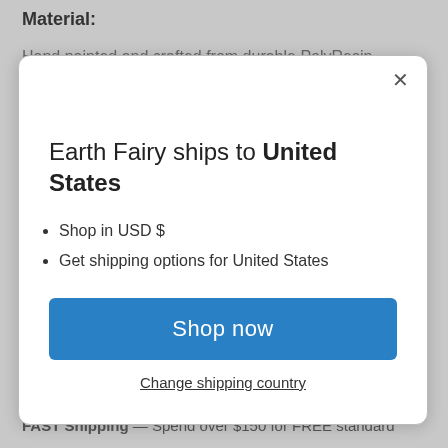Material:
Hand painted and crafted from durable PolyResin
[Figure (screenshot): Modal dialog popup on an e-commerce website. Contains a close button (X), a heading 'Earth Fairy ships to United States', a bullet list with 'Shop in USD $' and 'Get shipping options for United States', a blue 'Shop now' button, and a 'Change shipping country' underlined link.]
yearly basis.
FAST Shipping — Spend over $150 for FREE standard